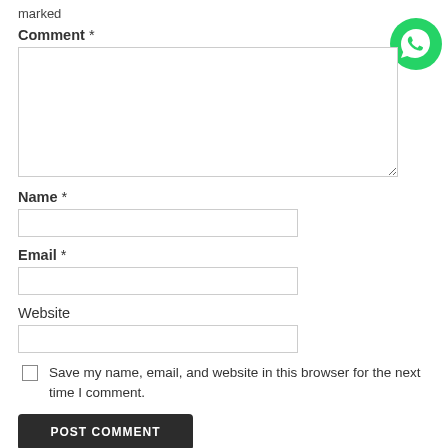marked
Comment *
[Figure (logo): WhatsApp green circle logo with white phone icon]
Name *
Email *
Website
Save my name, email, and website in this browser for the next time I comment.
POST COMMENT